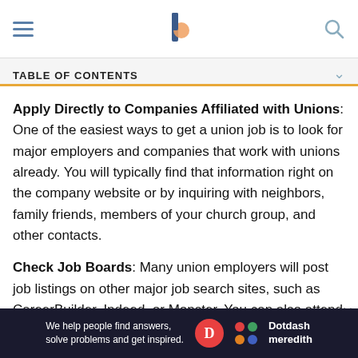[Hamburger menu] [The Balance logo] [Search icon]
TABLE OF CONTENTS
Apply Directly to Companies Affiliated with Unions: One of the easiest ways to get a union job is to look for major employers and companies that work with unions already. You will typically find that information right on the company website or by inquiring with neighbors, family friends, members of your church group, and other contacts.
Check Job Boards: Many union employers will post job listings on other major job search sites, such as CareerBuilder, Indeed, or Monster. You can also attend
[Figure (logo): Dotdash Meredith advertisement banner: 'We help people find answers, solve problems and get inspired.' with Dotdash Meredith logo]